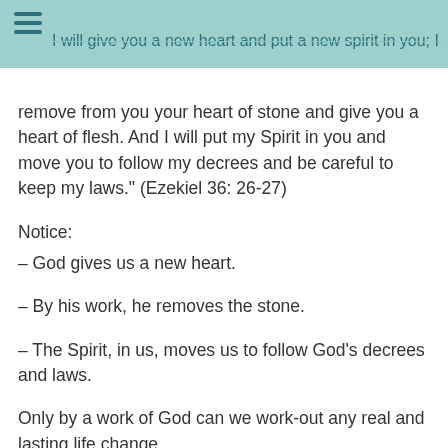I will give you a new heart and put a new spirit in you; I will
remove from you your heart of stone and give you a heart of flesh. And I will put my Spirit in you and move you to follow my decrees and be careful to keep my laws." (Ezekiel 36: 26-27)
Notice:
– God gives us a new heart.
– By his work, he removes the stone.
– The Spirit, in us, moves us to follow God's decrees and laws.
Only by a work of God can we work-out any real and lasting life change.